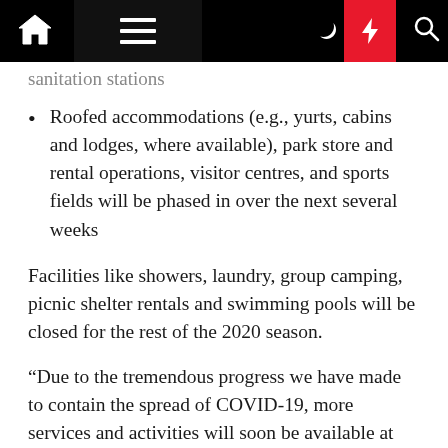[Navigation bar with home, menu, moon, lightning, search icons]
sanitation stations
Roofed accommodations (e.g., yurts, cabins and lodges, where available), park store and rental operations, visitor centres, and sports fields will be phased in over the next several weeks
Facilities like showers, laundry, group camping, picnic shelter rentals and swimming pools will be closed for the rest of the 2020 season.
“Due to the tremendous progress we have made to contain the spread of COVID-19, more services and activities will soon be available at our provincial parks,” Jeff Yurek, Minister of the Environment, Conservation and Parks, said in a statement.
“While this is encouraging, it is not business as usual